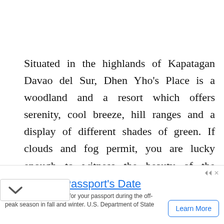Situated in the highlands of Kapatagan Davao del Sur, Dhen Yho's Place is a woodland and a resort which offers serenity, cool breeze, hill ranges and a display of different shades of green. If clouds and fog permit, you are lucky enough to witness the beauty of the Grandfather of all Philippine mountains, Mt. Apo, the highest peak in the ...ntry.
[Figure (other): Scroll/expand chevron indicator button with down arrow]
Check your Passport's Date
Plan ahead by applying for your passport during the off-peak season in fall and winter. U.S. Department of State